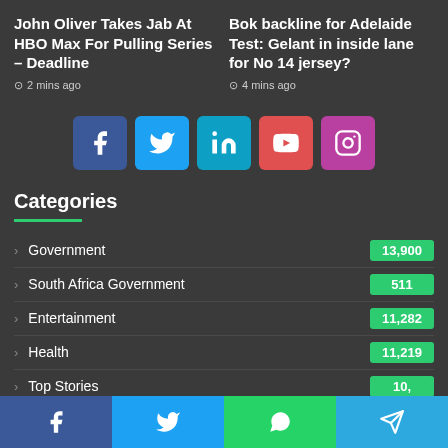John Oliver Takes Jab At HBO Max For Pulling Series – Deadline
2 mins ago
Bok backline for Adelaide Test: Gelant in inside lane for No 14 jersey?
4 mins ago
[Figure (infographic): Row of 5 social media icon buttons: Facebook, Twitter, LinkedIn, YouTube, Instagram]
Categories
Government  13,900
South Africa Government  511
Entertainment  11,282
Health  11,219
Top Stories  10,...
Motoring  ...
[Figure (infographic): Bottom share bar with 4 buttons: Facebook, Twitter, WhatsApp, Telegram]